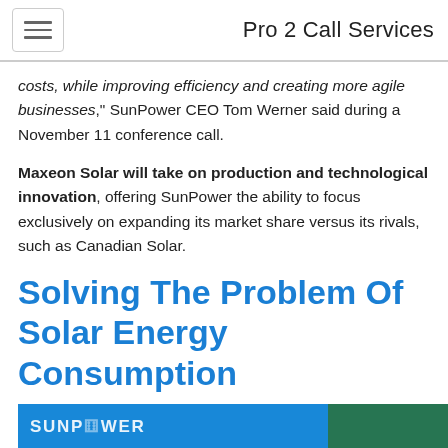Pro 2 Call Services
costs, while improving efficiency and creating more agile businesses," SunPower CEO Tom Werner said during a November 11 conference call.
Maxeon Solar will take on production and technological innovation, offering SunPower the ability to focus exclusively on expanding its market share versus its rivals, such as Canadian Solar.
Solving The Problem Of Solar Energy Consumption
[Figure (photo): Blue banner with SUNPOWER logo text and green foliage visible on the right side]